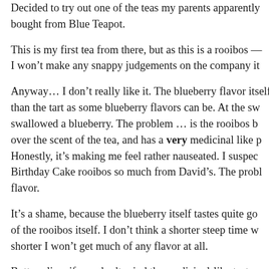Decided to try out one of the teas my parents apparently bought from Blue Teapot.
This is my first tea from there, but as this is a rooibos — I won't make any snappy judgements on the company it
Anyway… I don't really like it. The blueberry flavor itself than the tart as some blueberry flavors can be. At the sw swallowed a blueberry. The problem … is the rooibos b over the scent of the tea, and has a very medicinal like p Honestly, it's making me feel rather nauseated. I suspec Birthday Cake rooibos so much from David's. The probl flavor.
It's a shame, because the blueberry itself tastes quite go of the rooibos itself. I don't think a shorter steep time w shorter I won't get much of any flavor at all.
Bottom line, if you don't mind the medicinal-like taste o pick this one up! :)